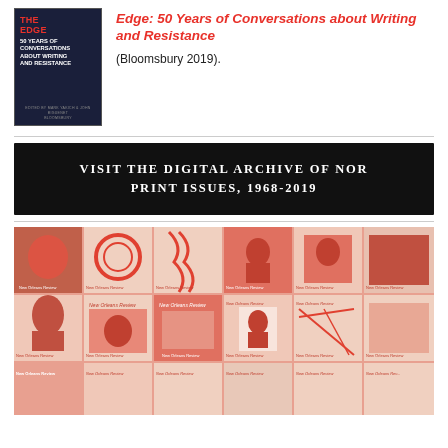[Figure (illustration): Book cover of 'On the Edge: 50 Years of Conversations about Writing and Resistance' with dark navy background, red and white text, published by Bloomsbury]
Edge: 50 Years of Conversations about Writing and Resistance
(Bloomsbury 2019).
[Figure (other): Black banner with white text: VISIT THE DIGITAL ARCHIVE OF NOR PRINT ISSUES, 1968-2019]
[Figure (photo): Collage of New Orleans Review magazine covers in red/coral duotone, spanning multiple rows showing historical print issues from 1968-2019]